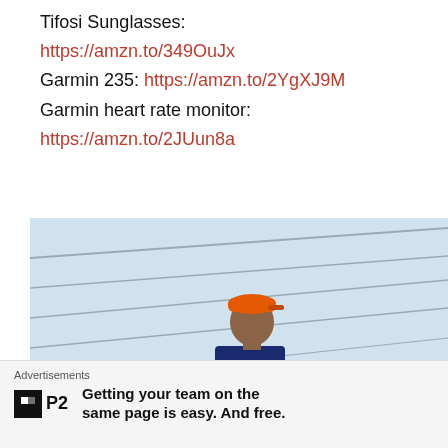Tifosi Sunglasses:
https://amzn.to/349OuJx
Garmin 235: https://amzn.to/2YgXJ9M
Garmin heart rate monitor:
https://amzn.to/2JUun8a
[Figure (photo): Person wearing an orange cap and dark blue shirt standing outdoors, with power lines and a light blue sky in the background]
Advertisements
P2 — Getting your team on the same page is easy. And free.